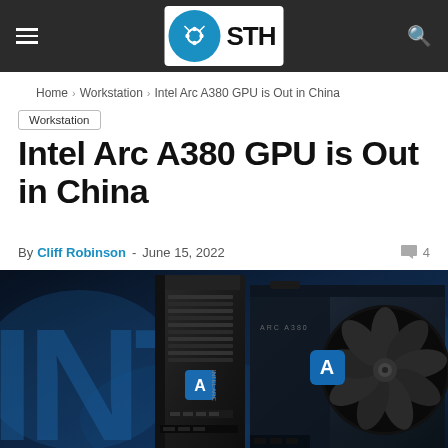STH (ServeTheHome) navigation bar with menu, logo, and search
Home > Workstation > Intel Arc A380 GPU is Out in China
Workstation
Intel Arc A380 GPU is Out in China
By Cliff Robinson - June 15, 2022  💬 4
[Figure (photo): Intel Arc A380 GPU cards (including an ASRock Photon model) displayed against a dark blue glowing background with partial 'INTEL' text visible]